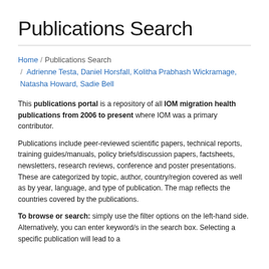Publications Search
Home / Publications Search / Adrienne Testa, Daniel Horsfall, Kolitha Prabhash Wickramage, Natasha Howard, Sadie Bell
This publications portal is a repository of all IOM migration health publications from 2006 to present where IOM was a primary contributor.
Publications include peer-reviewed scientific papers, technical reports, training guides/manuals, policy briefs/discussion papers, factsheets, newsletters, research reviews, conference and poster presentations. These are categorized by topic, author, country/region covered as well as by year, language, and type of publication. The map reflects the countries covered by the publications.
To browse or search: simply use the filter options on the left-hand side. Alternatively, you can enter keyword/s in the search box. Selecting a specific publication will lead to a